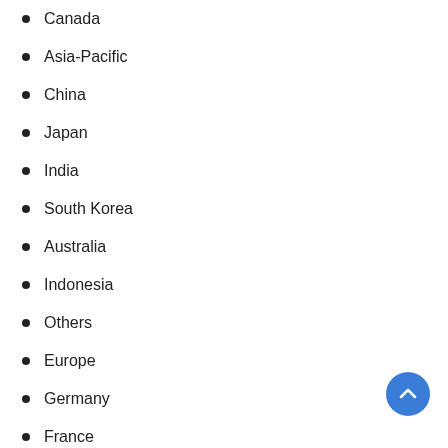Canada
Asia-Pacific
China
Japan
India
South Korea
Australia
Indonesia
Others
Europe
Germany
France
United Kingdom
Italy
Spain
Russia
Others
Latin America
Brazil
Mexico